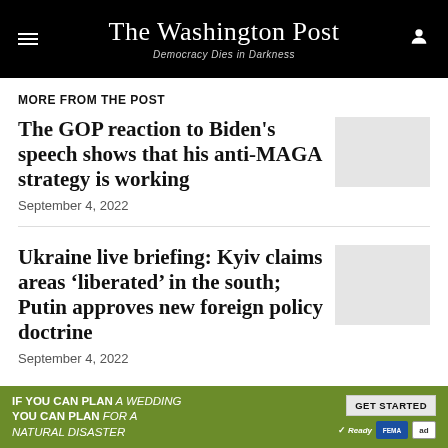The Washington Post — Democracy Dies in Darkness
MORE FROM THE POST
The GOP reaction to Biden's speech shows that his anti-MAGA strategy is working
September 4, 2022
Ukraine live briefing: Kyiv claims areas 'liberated' in the south; Putin approves new foreign policy doctrine
September 4, 2022
[Figure (other): Advertisement: IF YOU CAN PLAN A WEDDING YOU CAN PLAN FOR A NATURAL DISASTER — GET STARTED, Ready, FEMA, ad]